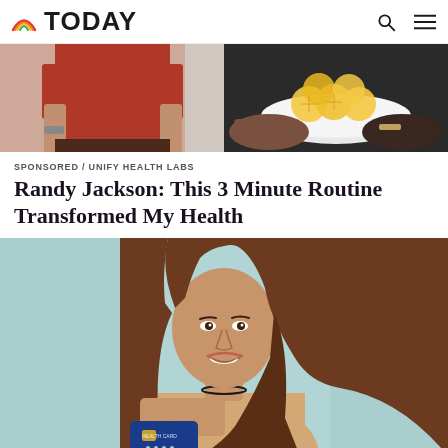TODAY
[Figure (photo): Two-panel hero image: left shows a person in a red shirt, right shows hands holding a bowl of lemon slices]
SPONSORED / UNIFY HEALTH LABS
Randy Jackson: This 3 Minute Routine Transformed My Health
[Figure (photo): Smiling young woman with long brown hair holding a blue credit/health card, standing against a light teal background]